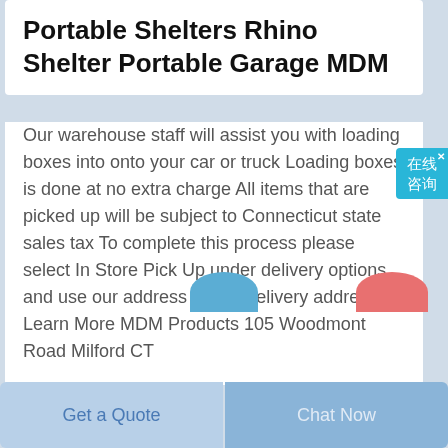Portable Shelters Rhino Shelter Portable Garage MDM
Our warehouse staff will assist you with loading boxes into onto your car or truck Loading boxes is done at no extra charge All items that are picked up will be subject to Connecticut state sales tax To complete this process please select In Store Pick Up under delivery options and use our address as the delivery address Learn More MDM Products 105 Woodmont Road Milford CT
[Figure (screenshot): Chinese live chat widget button with '在线咨询' text and close X]
[Figure (illustration): Partial blue circle and partial pink/red circle visible at bottom of page]
Get a Quote
Chat Now